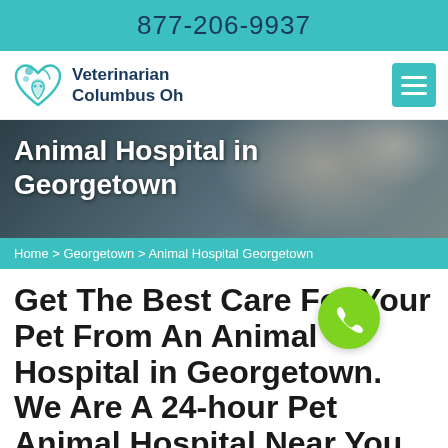877-206-9937
[Figure (logo): Veterinarian Columbus Oh logo with teal heart and paw icon]
Animal Hospital in Georgetown
Home > Georgetown > Animal Hospital Georgetown
Get The Best Care For Your Pet From An Animal Hospital in Georgetown. We Are A 24-hour Pet Animal Hospital Near You That